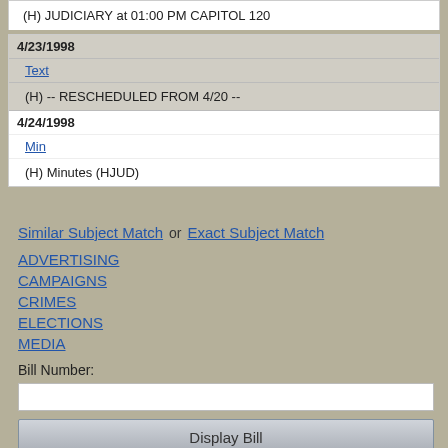(H) JUDICIARY at 01:00 PM CAPITOL 120
4/23/1998
Text
(H) -- RESCHEDULED FROM 4/20 --
4/24/1998
Min
(H) Minutes (HJUD)
Similar Subject Match or Exact Subject Match
ADVERTISING
CAMPAIGNS
CRIMES
ELECTIONS
MEDIA
Bill Number:
Display Bill